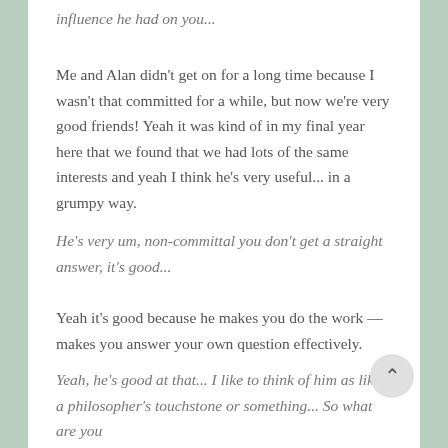influence he had on you...
Me and Alan didn't get on for a long time because I wasn't that committed for a while, but now we're very good friends! Yeah it was kind of in my final year here that we found that we had lots of the same interests and yeah I think he's very useful... in a grumpy way.
He's very um, non-committal you don't get a straight answer, it's good...
Yeah it's good because he makes you do the work — makes you answer your own question effectively.
Yeah, he's good at that... I like to think of him as like a philosopher's touchstone or something... So what are you doing next...